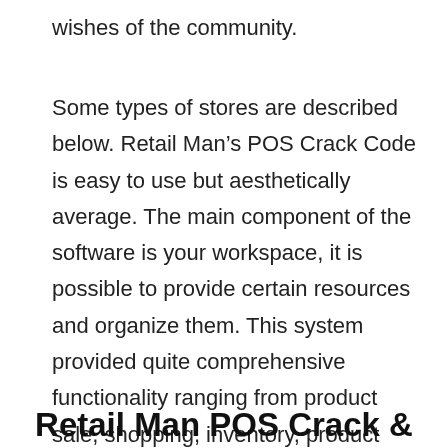wishes of the community.
Some types of stores are described below. Retail Man’s POS Crack Code is easy to use but aesthetically average. The main component of the software is your workspace, it is possible to provide certain resources and organize them. This system provided quite comprehensive functionality ranging from product sale, shopping, inventory, product sharing, code reading devices, and many other fascinating functions. Ezi Remedy Techniques suggests using Monrovia font applications to generate labels for professional products.
Retail Man POS Crack &